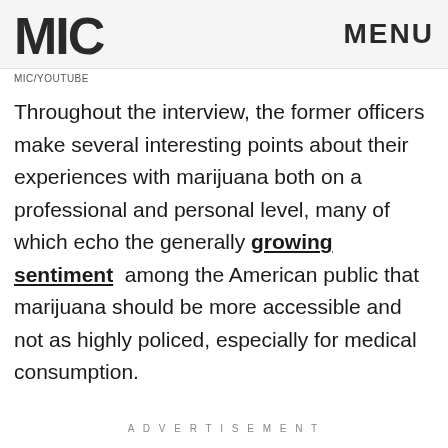MIC   MENU
MIC/YOUTUBE
Throughout the interview, the former officers make several interesting points about their experiences with marijuana both on a professional and personal level, many of which echo the generally growing sentiment among the American public that marijuana should be more accessible and not as highly policed, especially for medical consumption.
ADVERTISEMENT